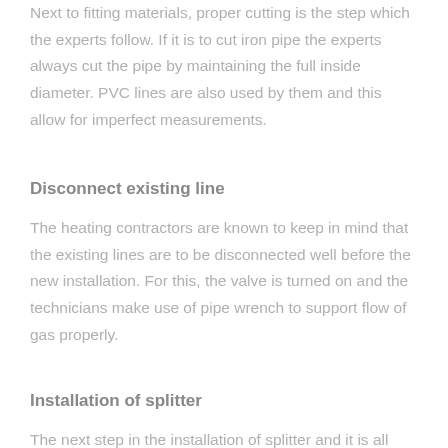Next to fitting materials, proper cutting is the step which the experts follow. If it is to cut iron pipe the experts always cut the pipe by maintaining the full inside diameter. PVC lines are also used by them and this allow for imperfect measurements.
Disconnect existing line
The heating contractors are known to keep in mind that the existing lines are to be disconnected well before the new installation. For this, the valve is turned on and the technicians make use of pipe wrench to support flow of gas properly.
Installation of splitter
The next step in the installation of splitter and it is all